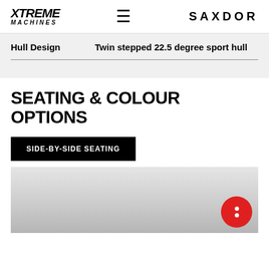XTREME MACHINES | ≡ | SAXDOR
| Hull Design | Twin stepped 22.5 degree sport hull |
| --- | --- |
SEATING & COLOUR OPTIONS
SIDE-BY-SIDE SEATING
[Figure (photo): Blurred/placeholder image of boat seating with red chat button overlay in bottom right]